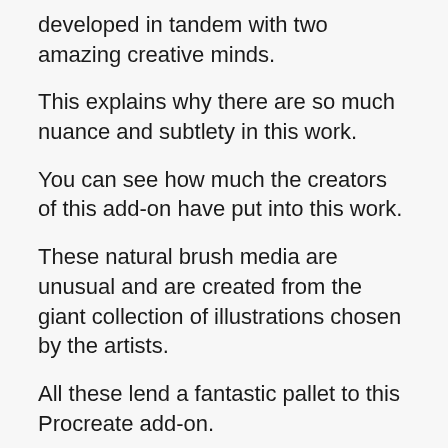developed in tandem with two amazing creative minds.
This explains why there are so much nuance and subtlety in this work.
You can see how much the creators of this add-on have put into this work.
These natural brush media are unusual and are created from the giant collection of illustrations chosen by the artists.
All these lend a fantastic pallet to this Procreate add-on.
Pros & Benefits: